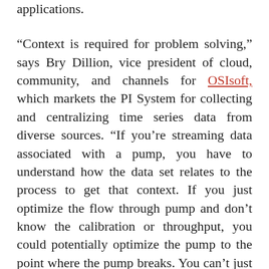applications.
“Context is required for problem solving,” says Bry Dillion, vice president of cloud, community, and channels for OSIsoft, which markets the PI System for collecting and centralizing time series data from diverse sources. “If you’re streaming data associated with a pump, you have to understand how the data set relates to the process to get that context. If you just optimize the flow through pump and don’t know the calibration or throughput, you could potentially optimize the pump to the point where the pump breaks. You can’t just bring in raw data and expect machine learning to figure it out.” (Editor’s note: At press time, Aveva had just announced its pending acquisition of OSIsoft. Read